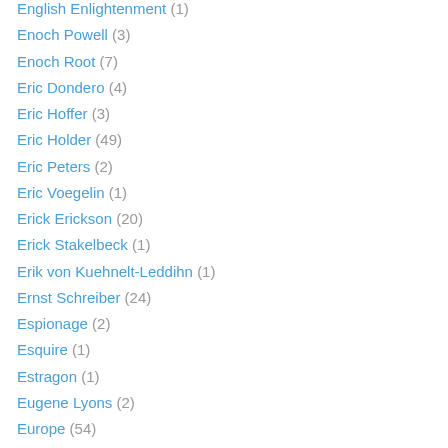English Enlightenment (1)
Enoch Powell (3)
Enoch Root (7)
Eric Dondero (4)
Eric Hoffer (3)
Eric Holder (49)
Eric Peters (2)
Eric Voegelin (1)
Erick Erickson (20)
Erick Stakelbeck (1)
Erik von Kuehnelt-Leddihn (1)
Ernst Schreiber (24)
Espionage (2)
Esquire (1)
Estragon (1)
Eugene Lyons (2)
Europe (54)
Euthanasia (2)
Evil Blogger Lady (107)
Evil Conservative (1)